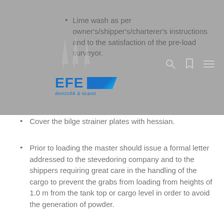Lime wash as per owner's/shipper's/charterer's instructions and to the satisfaction of the pre-load surveyor.
Cover the bilge strainer plates with hessian.
Prior to loading the master should issue a formal letter addressed to the stevedoring company and to the shippers requiring great care in the handling of the cargo to prevent the grabs from loading from heights of 1.0 m from the tank top or cargo level in order to avoid the generation of powder.
Prior to loading the master should obtain a DCD (Dangerous Cargo Declaration) from the shippers or their agent
During the loaded voyage, maintain bilge